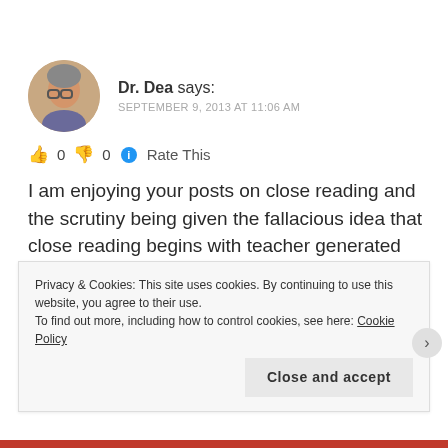Dr. Dea says: SEPTEMBER 9, 2013 AT 11:06 AM
👍 0 👎 0 ℹ Rate This
I am enjoying your posts on close reading and the scrutiny being given the fallacious idea that close reading begins with teacher generated text dependent questions (among other misguided indicators and supports for close reading). I have
Privacy & Cookies: This site uses cookies. By continuing to use this website, you agree to their use.
To find out more, including how to control cookies, see here: Cookie Policy
Close and accept